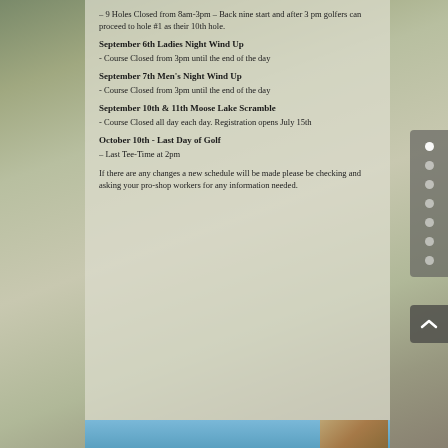– 9 Holes Closed from 8am-3pm – Back nine start and after 3 pm golfers can proceed to hole #1 as their 10th hole.
September 6th Ladies Night Wind Up
- Course Closed from 3pm until the end of the day
September 7th Men's Night Wind Up
- Course Closed from 3pm until the end of the day
September 10th & 11th Moose Lake Scramble
- Course Closed all day each day. Registration opens July 15th
October 10th - Last Day of Golf
– Last Tee-Time at 2pm
If there are any changes a new schedule will be made please be checking and asking your pro-shop workers for any information needed.